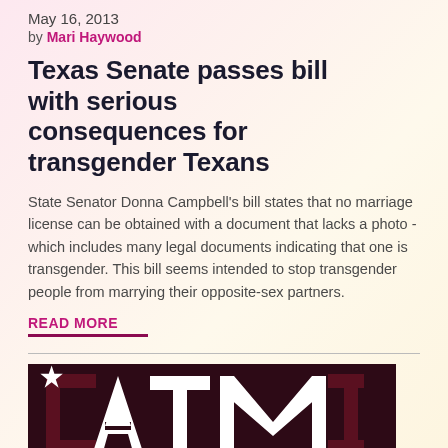May 16, 2013
by Mari Haywood
Texas Senate passes bill with serious consequences for transgender Texans
State Senator Donna Campbell's bill states that no marriage license can be obtained with a document that lacks a photo - which includes many legal documents indicating that one is transgender. This bill seems intended to stop transgender people from marrying their opposite-sex partners.
READ MORE
[Figure (logo): Texas A&M University ATM logo in white on dark maroon/brown background]